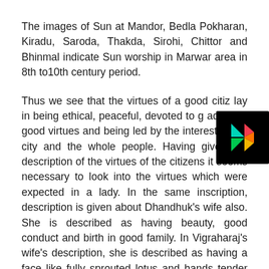The images of Sun at Mandor, Bedla Pokharan, Kiradu, Saroda, Thakda, Sirohi, Chittor and Bhinmal indicate Sun worship in Marwar area in 8th to10th century period.
Thus we see that the virtues of a good citiz lay in being ethical, peaceful, devoted to g adopting good virtues and being led by the interest of the city and the whole people. Having given the description of the virtues of the citizens it seems necessary to look into the virtues which were expected in a lady. In the same inscription, description is given about Dhandhuk's wife also. She is described as having beauty, good conduct and birth in good family. In Vigraharaj's wife's description, she is described as having a face like fully sprouted lotus and hands tender like lotus.
[Figure (logo): Google Play Store badge/icon — black background with colorful play triangle]